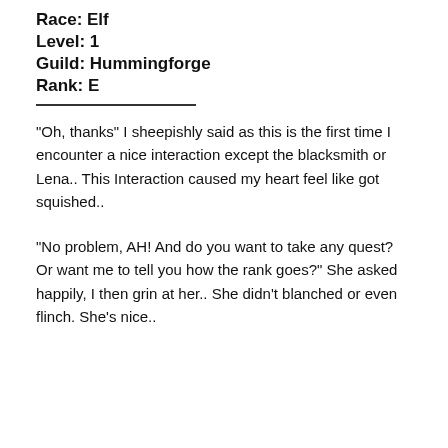Race: Elf
Level: 1
Guild: Hummingforge
Rank: E
“Oh, thanks” I sheepishly said as this is the first time I encounter a nice interaction except the blacksmith or Lena.. This Interaction caused my heart feel like got squished..
“No problem, AH! And do you want to take any quest? Or want me to tell you how the rank goes?” She asked happily, I then grin at her.. She didn’t blanched or even flinch. She’s nice..